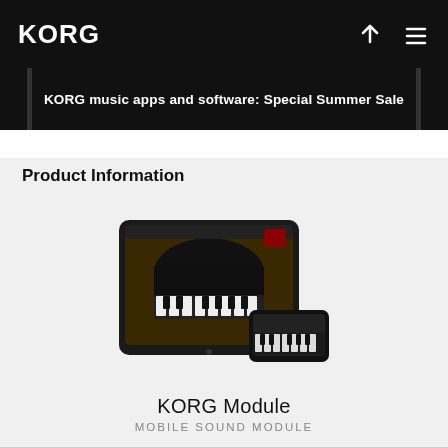KORG
KORG music apps and software: Special Summer Sale
Product Information
[Figure (photo): KORG Module app shown on an iPad and an iPhone displaying piano/keyboard instruments on screen]
KORG Module
MOBILE SOUND MODULE